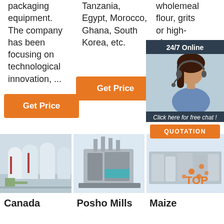packaging equipment. The company has been focusing on technological innovation, ...
Tanzania, Egypt, Morocco, Ghana, South Korea, etc.
wholemeal flour, grits or high-class flour.
Get Price
Get Price
[Figure (infographic): 24/7 Online chat sidebar with customer service representative photo, 'Click here for free chat!' text, and QUOTATION button]
[Figure (photo): Industrial milling/packaging facility interior with large cylindrical silos]
[Figure (photo): Industrial milling machine equipment]
[Figure (photo): Maize milling machine with TOP label overlay]
Canada
Posho Mills
Maize